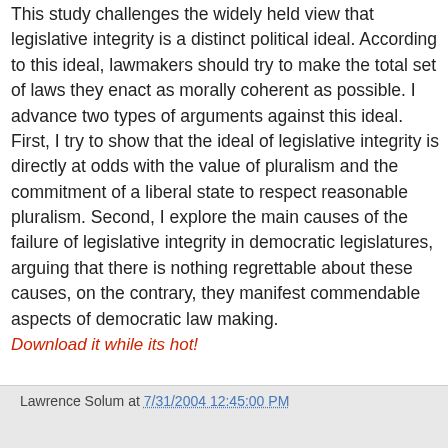This study challenges the widely held view that legislative integrity is a distinct political ideal. According to this ideal, lawmakers should try to make the total set of laws they enact as morally coherent as possible. I advance two types of arguments against this ideal. First, I try to show that the ideal of legislative integrity is directly at odds with the value of pluralism and the commitment of a liberal state to respect reasonable pluralism. Second, I explore the main causes of the failure of legislative integrity in democratic legislatures, arguing that there is nothing regrettable about these causes, on the contrary, they manifest commendable aspects of democratic law making.
Download it while its hot!
Lawrence Solum at 7/31/2004 12:45:00 PM
Share